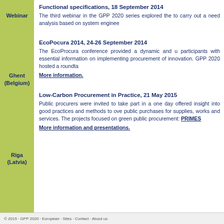Webinar
Functional specifications, 18 September 2014
The third webinar in the GPP 2020 series explored the to carry out a need analysis based on system enginee
Ghent (Belgium)
EcoPocura 2014, 24-26 September 2014
The EcoProcura conference provided a dynamic and u participants with essential information on implementing procurement of innovation. GPP 2020 hosted a roundta
More information.
Riga (Latvia)
Low-Carbon Procurement in Practice, 21 May 2015
Public procurers were invited to take part in a one day offered insight into good practices and methods to ove public purchases for supplies, works and services. The projects focused on green public procurement: PRIMES
More information and presentations.
© 2015 · GPP 2020 · European · Sites · Contact · About us